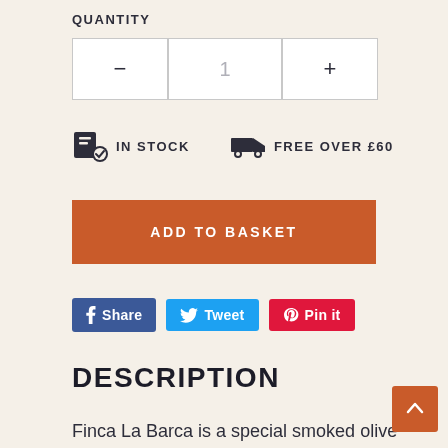QUANTITY
| - | 1 | + |
| --- | --- | --- |
IN STOCK   FREE OVER £60
ADD TO BASKET
Share  Tweet  Pin it
DESCRIPTION
Finca La Barca is a special smoked olive oil